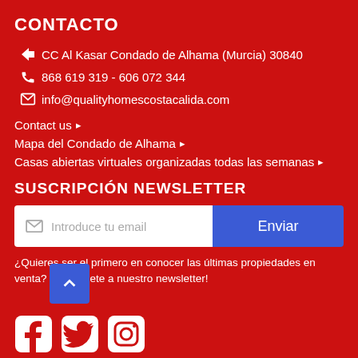CONTACTO
CC Al Kasar Condado de Alhama (Murcia) 30840
868 619 319 - 606 072 344
info@qualityhomescostacalida.com
Contact us ▶
Mapa del Condado de Alhama ▶
Casas abiertas virtuales organizadas todas las semanas ▶
SUSCRIPCIÓN NEWSLETTER
Introduce tu email
Enviar
¿Quieres ser el primero en conocer las últimas propiedades en venta? ¡Suscríbete a nuestro newsletter!